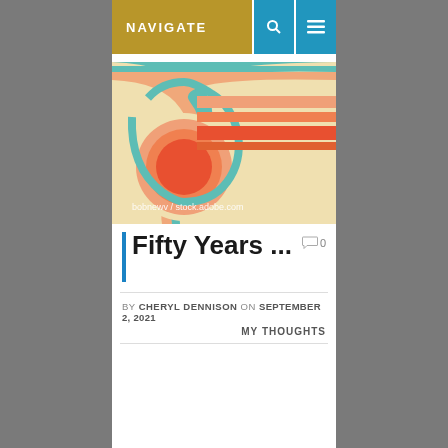NAVIGATE
[Figure (illustration): Retro 1970s style illustration with concentric spiraling circles and horizontal stripes in teal, orange, red, and cream/beige colors. Watermark: bobnewv / stock.adobe.com]
Fifty Years ...
BY CHERYL DENNISON ON SEPTEMBER 2, 2021
MY THOUGHTS